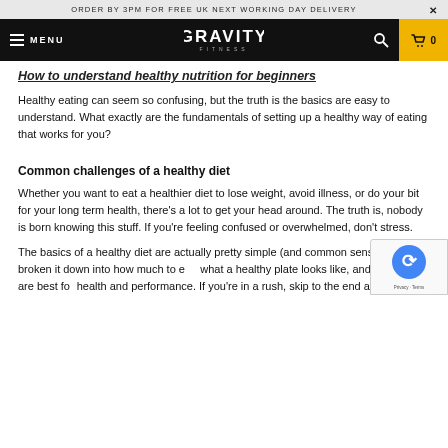ORDER BY 3PM FOR FREE UK NEXT WORKING DAY DELIVERY
[Figure (logo): Gravity Fitness website navigation bar with hamburger menu, GRAVITY FITNESS logo, search icon, and cart showing 0 items]
How to understand healthy nutrition for beginners
Healthy eating can seem so confusing, but the truth is the basics are easy to understand. What exactly are the fundamentals of setting up a healthy way of eating that works for you?
Common challenges of a healthy diet
Whether you want to eat a healthier diet to lose weight, avoid illness, or do your bit for your long term health, there's a lot to get your head around. The truth is, nobody is born knowing this stuff. If you're feeling confused or overwhelmed, don't stress.
The basics of a healthy diet are actually pretty simple (and common sense). We've broken it down into how much to eat, what a healthy plate looks like, and what foods are best for health and performance. If you're in a rush, skip to the end and